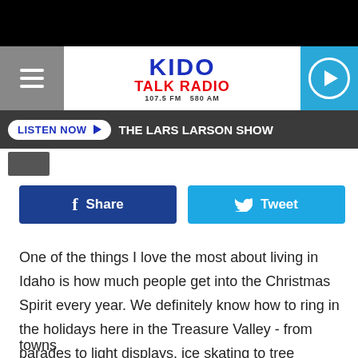KIDO TALK RADIO 107.5 FM 580 AM
LISTEN NOW ▶  THE LARS LARSON SHOW
[Figure (screenshot): Facebook Share button (blue) and Tweet button (cyan/blue) side by side]
One of the things I love the most about living in Idaho is how much people get into the Christmas Spirit every year. We definitely know how to ring in the holidays here in the Treasure Valley - from parades to light displays, ice skating to tree lightings and everything in between. There's no doubt in my mind that our state is one of the best places to celebra                                                  Idaho towns